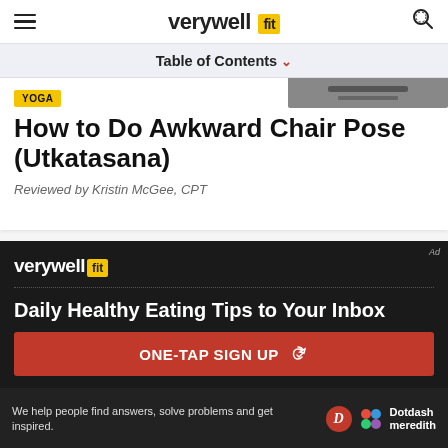verywell fit
Table of Contents
YOGA
How to Do Awkward Chair Pose (Utkatasana)
Reviewed by Kristin McGee, CPT
[Figure (logo): Verywell fit logo in white on dark background]
Daily Healthy Eating Tips to Your Inbox
ONE-TAP SIGN UP
We help people find answers, solve problems and get inspired.
[Figure (logo): Dotdash Meredith logo]